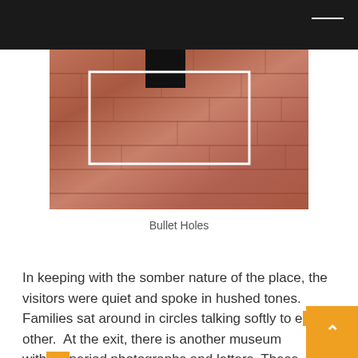[Figure (photo): Close-up photograph of a brick wall with a white rectangle drawn on it and a dark square shape at the top center, representing bullet holes at a historical site.]
Bullet Holes
In keeping with the somber nature of the place, the visitors were quiet and spoke in hushed tones. Families sat around in circles talking softly to each other.  At the exit, there is another museum with period photographs and letters. These include pictures of the infamous “Crawling Order”. A British